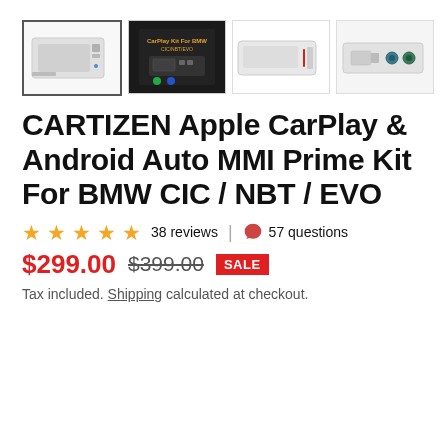[Figure (photo): Four product thumbnail images of the CARTIZEN Apple CarPlay & Android Auto MMI Prime Kit for BMW CIC/NBT/EVO. First thumbnail (selected/highlighted) shows white device front. Second shows dark packaging/box. Third shows white device side angle. Fourth shows device rear ports.]
CARTIZEN Apple CarPlay & Android Auto MMI Prime Kit For BMW CIC / NBT / EVO
★★★★★ 38 reviews | 💬 57 questions
$299.00  $399.00  SALE
Tax included. Shipping calculated at checkout.